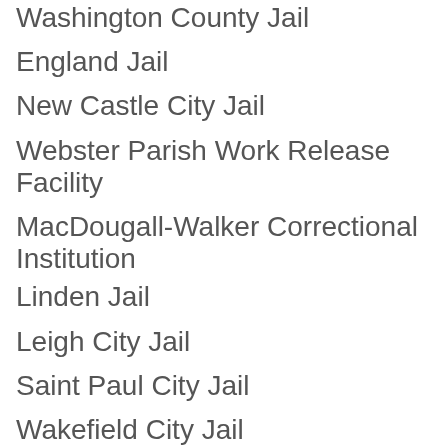Washington County Jail
England Jail
New Castle City Jail
Webster Parish Work Release Facility
MacDougall-Walker Correctional Institution
Linden Jail
Leigh City Jail
Saint Paul City Jail
Wakefield City Jail
Clay County Jail